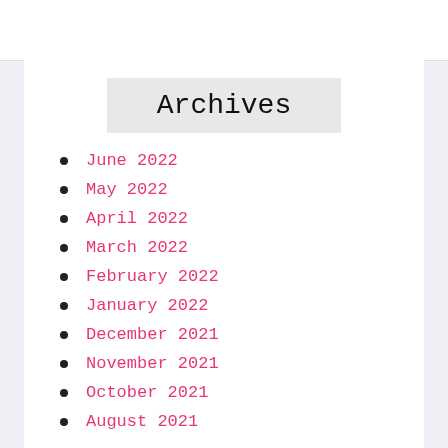Archives
June 2022
May 2022
April 2022
March 2022
February 2022
January 2022
December 2021
November 2021
October 2021
August 2021